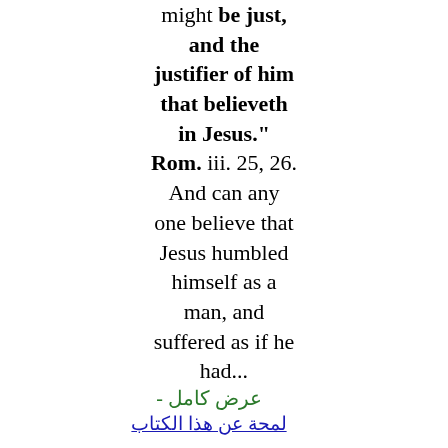might be just, and the justifier of him that believeth in Jesus." Rom. iii. 25, 26. And can any one believe that Jesus humbled himself as a man, and suffered as if he had...
- عرض كامل
لمحة عن هذا الكتاب
Eight Discourses on the Connection Between the Old and New Testament ...
Charles